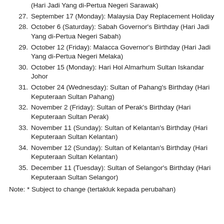(Hari Jadi Yang di-Pertua Negeri Sarawak)
27. September 17 (Monday): Malaysia Day Replacement Holiday
28. October 6 (Saturday): Sabah Governor's Birthday (Hari Jadi Yang di-Pertua Negeri Sabah)
29. October 12 (Friday): Malacca Governor's Birthday (Hari Jadi Yang di-Pertua Negeri Melaka)
30. October 15 (Monday): Hari Hol Almarhum Sultan Iskandar Johor
31. October 24 (Wednesday): Sultan of Pahang's Birthday (Hari Keputeraan Sultan Pahang)
32. November 2 (Friday): Sultan of Perak's Birthday (Hari Keputeraan Sultan Perak)
33. November 11 (Sunday): Sultan of Kelantan's Birthday (Hari Keputeraan Sultan Kelantan)
34. November 12 (Sunday): Sultan of Kelantan's Birthday (Hari Keputeraan Sultan Kelantan)
35. December 11 (Tuesday): Sultan of Selangor's Birthday (Hari Keputeraan Sultan Selangor)
Note: * Subject to change (tertakluk kepada perubahan)